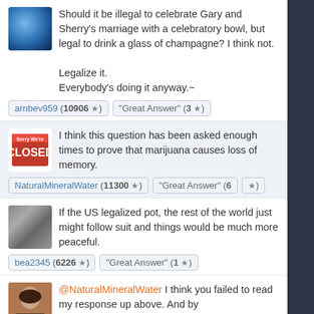Should it be illegal to celebrate Gary and Sherry's marriage with a celebratory bowl, but legal to drink a glass of champagne? I think not.

Legalize it.
Everybody's doing it anyway.~
arnbev959 (10906 ★) | "Great Answer" (3 ★)
I think this question has been asked enough times to prove that marijuana causes loss of memory.
NaturalMineralWater (11300 ★) | "Great Answer" (6 ★)
If the US legalized pot, the rest of the world just might follow suit and things would be much more peaceful.
bea2345 (6226 ★) | "Great Answer" (1 ★)
@NaturalMineralWater I think you failed to read my response up above. And by